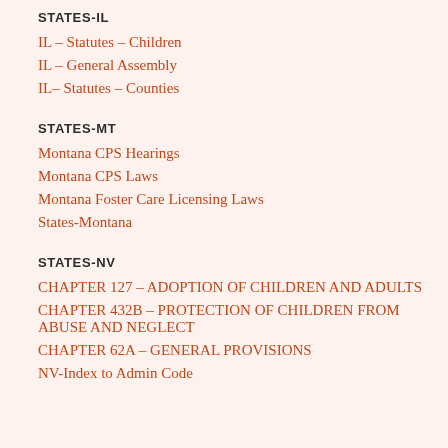STATES-IL
IL – Statutes – Children
IL – General Assembly
IL– Statutes – Counties
STATES-MT
Montana CPS Hearings
Montana CPS Laws
Montana Foster Care Licensing Laws
States-Montana
STATES-NV
CHAPTER 127 – ADOPTION OF CHILDREN AND ADULTS
CHAPTER 432B – PROTECTION OF CHILDREN FROM ABUSE AND NEGLECT
CHAPTER 62A – GENERAL PROVISIONS
NV-Index to Admin Code